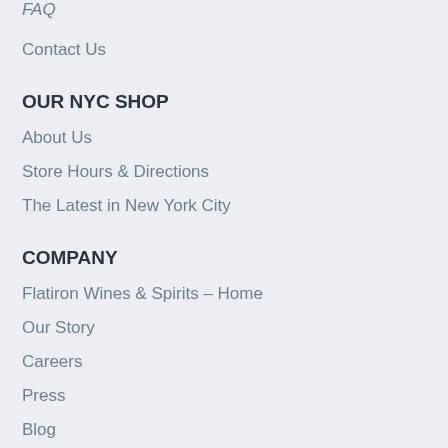FAQ
Contact Us
OUR NYC SHOP
About Us
Store Hours & Directions
The Latest in New York City
COMPANY
Flatiron Wines & Spirits – Home
Our Story
Careers
Press
Blog
Terms of Service
Privacy Poli...